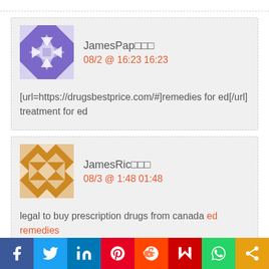JamesPap□□□
08/2 @ 16:23 16:23
[url=https://drugsbestprice.com/#]remedies for ed[/url] treatment for ed
JamesRic□□□
08/3 @ 1:48 01:48
legal to buy prescription drugs from canada ed remedies